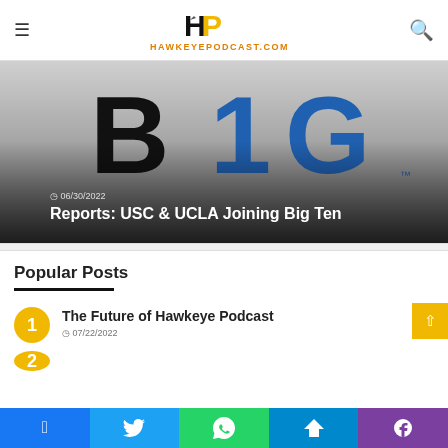[Figure (logo): Hawkeye Podcast logo with HP initials and eagle, text HAWKEYEPODCAST.COM]
[Figure (photo): Big Ten conference logo (B1G) with gradient background]
06/30/2022
Reports: USC & UCLA Joining Big Ten
Popular Posts
The Future of Hawkeye Podcast
07/22/2022